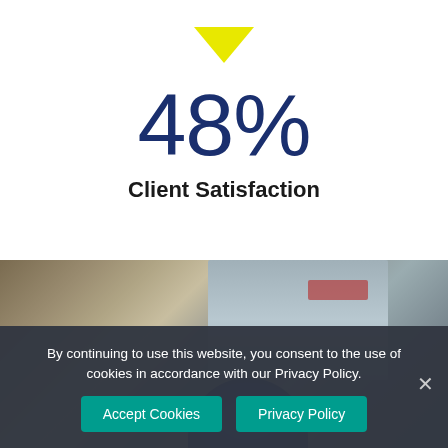[Figure (infographic): Yellow downward-pointing arrow above large percentage statistic]
48%
Client Satisfaction
[Figure (photo): Blurred photo of worker wearing blue hard hat in industrial environment]
By continuing to use this website, you consent to the use of cookies in accordance with our Privacy Policy.